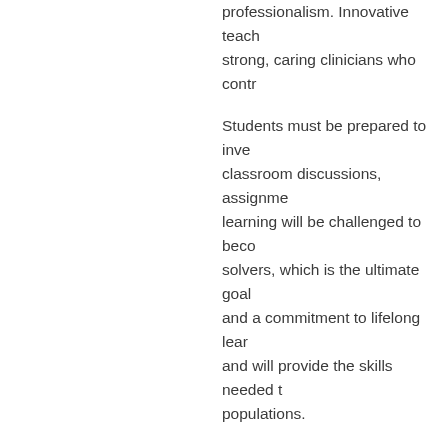professionalism. Innovative teach strong, caring clinicians who contr
Students must be prepared to inve classroom discussions, assignme learning will be challenged to beco solvers, which is the ultimate goal and a commitment to lifelong lear and will provide the skills needed t populations.
Our View of Learning and Occupa
In a professional program, learnin learner to be involved and commit program with a variety of educatio learning. Trinity's integrated MOT c preferences, make on-going conne learning to clinical situations from